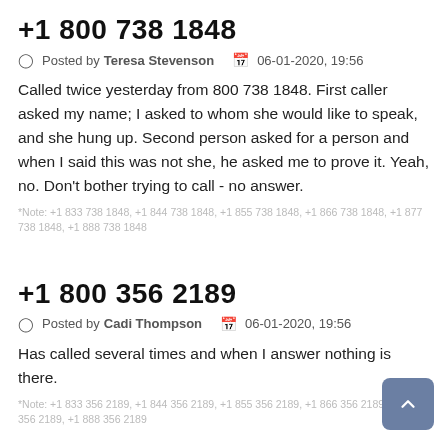+1 800 738 1848
Posted by Teresa Stevenson   06-01-2020, 19:56
Called twice yesterday from 800 738 1848. First caller asked my name; I asked to whom she would like to speak, and she hung up. Second person asked for a person and when I said this was not she, he asked me to prove it. Yeah, no. Don't bother trying to call - no answer.
*Note: +1 833 738 1848, +1 844 738 1848, +1 855 738 1848, +1 866 738 1848, +1 877 738 1848, +1 888 738 1848
+1 800 356 2189
Posted by Cadi Thompson   06-01-2020, 19:56
Has called several times and when I answer nothing is there.
*Note: +1 833 356 2189, +1 844 356 2189, +1 855 356 2189, +1 866 356 2189, +1 877 356 2189, +1 888 356 2189